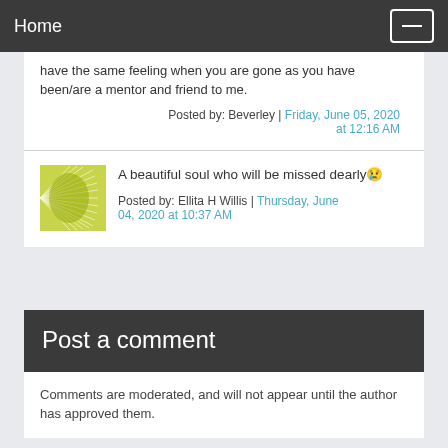Home
have the same feeling when you are gone as you have been/are a mentor and friend to me.
Posted by: Beverley | Friday, June 05, 2020 at 12:16 AM
A beautiful soul who will be missed dearly😢
Posted by: Ellita H Willis | Thursday, June 04, 2020 at 10:37 AM
Post a comment
Comments are moderated, and will not appear until the author has approved them.